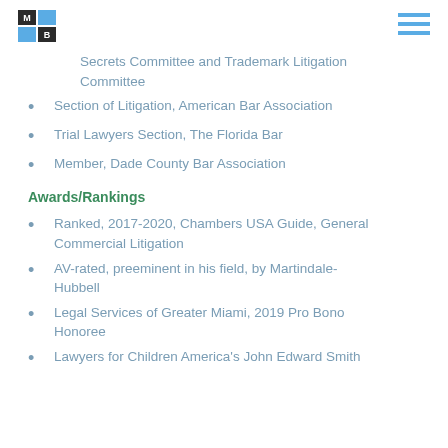MB logo and hamburger menu
Secrets Committee and Trademark Litigation Committee
Section of Litigation, American Bar Association
Trial Lawyers Section, The Florida Bar
Member, Dade County Bar Association
Awards/Rankings
Ranked, 2017-2020, Chambers USA Guide, General Commercial Litigation
AV-rated, preeminent in his field, by Martindale-Hubbell
Legal Services of Greater Miami, 2019 Pro Bono Honoree
Lawyers for Children America's John Edward Smith